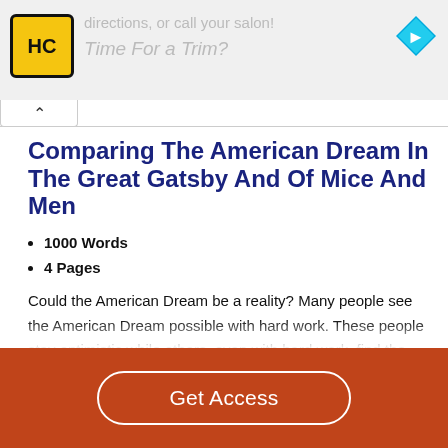[Figure (screenshot): Advertisement banner with HC (HairClub) logo, text 'directions, or call your salon!' and 'Time For a Trim?', plus a blue navigation arrow icon]
Comparing The American Dream In The Great Gatsby And Of Mice And Men
1000 Words
4 Pages
Could the American Dream be a reality? Many people see the American Dream possible with hard work. These people stay optimistic while others, even with hard work, find the American Dream unachievable. Three works of literature that endure the failures of the American Dream are The Crucible
Get Access